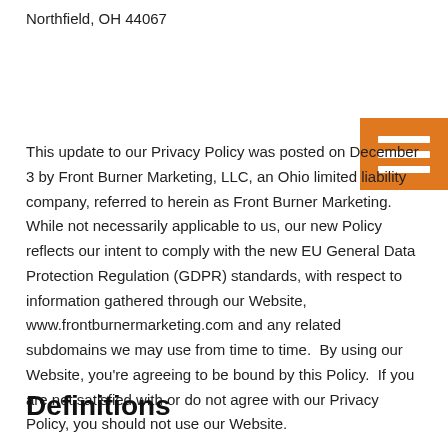Northfield, OH 44067
[Figure (other): Orange menu/hamburger icon with three white horizontal lines on orange background]
This update to our Privacy Policy was posted on December 3 by Front Burner Marketing, LLC, an Ohio limited liability company, referred to herein as Front Burner Marketing.  While not necessarily applicable to us, our new Policy reflects our intent to comply with the new EU General Data Protection Regulation (GDPR) standards, with respect to information gathered through our Website, www.frontburnermarketing.com and any related subdomains we may use from time to time.  By using our Website, you're agreeing to be bound by this Policy.  If you are not satisfied with or do not agree with our Privacy Policy, you should not use our Website.
Definitions